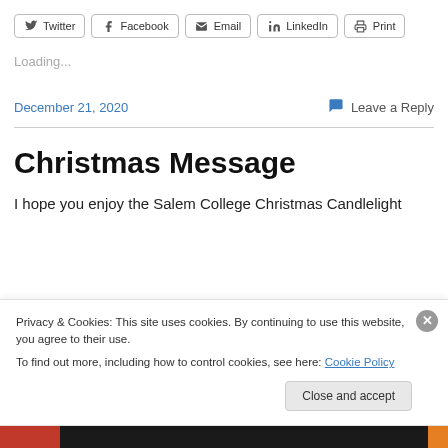[Figure (screenshot): Social share toolbar with Twitter, Facebook, Email, LinkedIn, and Print buttons]
Loading...
December 21, 2020
Leave a Reply
Christmas Message
I hope you enjoy the Salem College Christmas Candlelight
Privacy & Cookies: This site uses cookies. By continuing to use this website, you agree to their use.
To find out more, including how to control cookies, see here: Cookie Policy